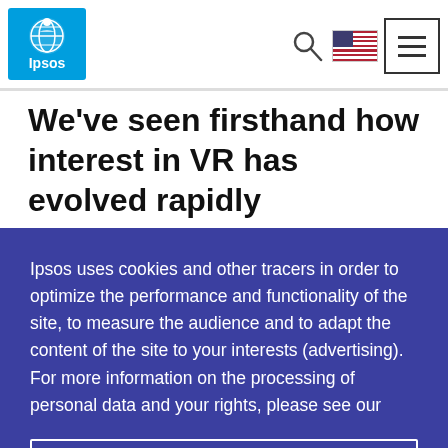[Figure (logo): Ipsos logo — blue square with white globe icon and 'Ipsos' text]
We've seen firsthand how interest in VR has evolved rapidly throughout the course of the
Ipsos uses cookies and other tracers in order to optimize the performance and functionality of the site, to measure the audience and to adapt the content of the site to your interests (advertising). For more information on the processing of personal data and your rights, please see our
I accept all
Customise Settings